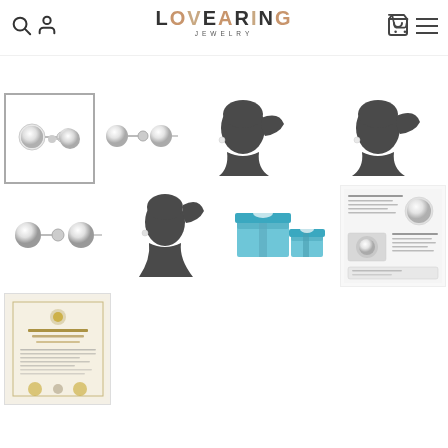LOVEARING JEWELRY
[Figure (photo): E-commerce product page for Lovearing Jewelry showing pearl stud earrings with multiple product images including close-up photos of earrings, silhouette models wearing earrings, gift box packaging, product information card, and authenticity certificate]
[Figure (logo): LOVEARING JEWELRY logo in black and rose gold lettering]